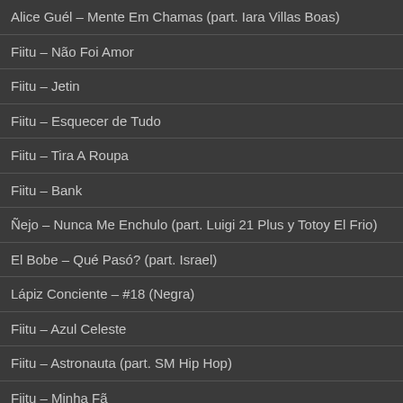Alice Guél – Mente Em Chamas (part. Iara Villas Boas)
Fiitu – Não Foi Amor
Fiitu – Jetin
Fiitu – Esquecer de Tudo
Fiitu – Tira A Roupa
Fiitu – Bank
Ñejo – Nunca Me Enchulo (part. Luigi 21 Plus y Totoy El Frio)
El Bobe – Qué Pasó? (part. Israel)
Lápiz Conciente – #18 (Negra)
Fiitu – Azul Celeste
Fiitu – Astronauta (part. SM Hip Hop)
Fiitu – Minha Fã
$uicideBoy$ – THE_EVIL_THAT_MEN_DO
Aklesso – Beyonce (feat. Sam Rivera)